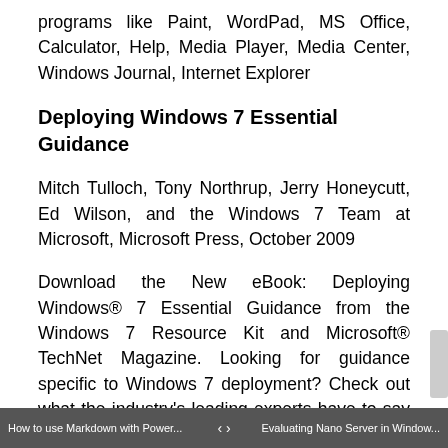programs like Paint, WordPad, MS Office, Calculator, Help, Media Player, Media Center, Windows Journal, Internet Explorer
Deploying Windows 7 Essential Guidance
Mitch Tulloch, Tony Northrup, Jerry Honeycutt, Ed Wilson, and the Windows 7 Team at Microsoft, Microsoft Press, October 2009
Download the New eBook: Deploying Windows® 7 Essential Guidance from the Windows 7 Resource Kit and Microsoft® TechNet Magazine. Looking for guidance specific to Windows 7 deployment? Check out what the industry's leading experts have to say in this free Microsoft Press eBook with selected chapters from the Windows 7 Resource Kit on
How to use Markdown with Power... | < > | Evaluating Nano Server in Window...